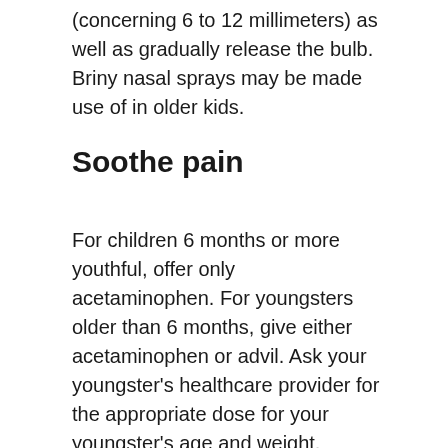(concerning 6 to 12 millimeters) as well as gradually release the bulb. Briny nasal sprays may be made use of in older kids.
Soothe pain
For children 6 months or more youthful, offer only acetaminophen. For youngsters older than 6 months, give either acetaminophen or advil. Ask your youngster's healthcare provider for the appropriate dose for your youngster's age and weight. Adults can take acetaminophen (Tylenol, others), ibuprofen (Advil, Motrin IB, others) or